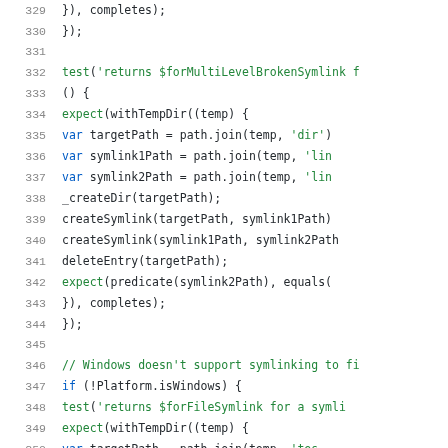[Figure (screenshot): Source code viewer showing JavaScript/Dart code lines 329-350, with line numbers in grey on the left, and code in green and dark colors on a white background. Lines include test cases for symlink functionality.]